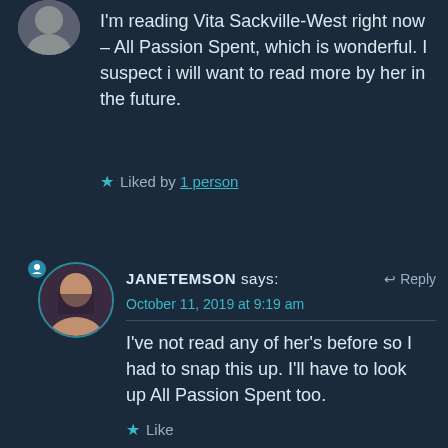[Figure (photo): Partial circular avatar photo at top left, mostly cropped]
I'm reading Vita Sackville-West right now – All Passion Spent, which is wonderful. I suspect i will want to read more by her in the future.
★ Liked by 1 person
[Figure (photo): Circular avatar photo of a woman with dark hair]
JANETEMSON says:   ↩ Reply
October 11, 2019 at 9:19 am
I've not read any of her's before so I had to snap this up. I'll have to look up All Passion Spent too.
★ Like